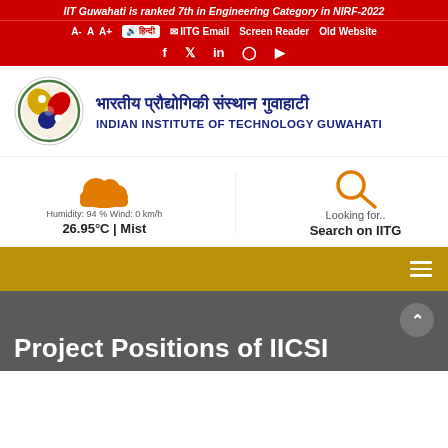IIT Guwahati is ranked 7th in Engineering Category in NIRF-2022
A- A A+ IITG Email Screen Reader Old Website
Social icons: f, twitter, in, instagram, youtube
[Figure (logo): IIT Guwahati circular logo with colorful yin-yang style design]
भारतीय प्रौद्योगिकी संस्थान गुवाहाटी
INDIAN INSTITUTE OF TECHNOLOGY GUWAHATI
Humidity: 94 % Wind: 0 km/h
26.95°C | Mist
Looking for..
Search on IITG
Project Positions of IICSI